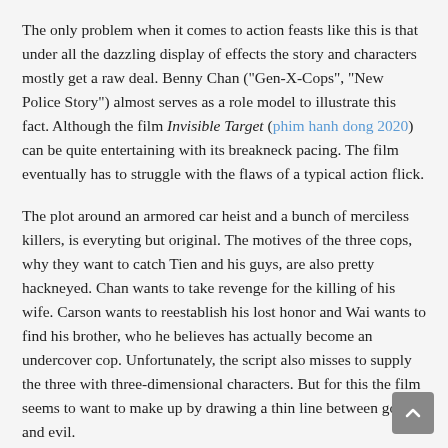The only problem when it comes to action feasts like this is that under all the dazzling display of effects the story and characters mostly get a raw deal. Benny Chan ("Gen-X-Cops", "New Police Story") almost serves as a role model to illustrate this fact. Although the film Invisible Target (phim hanh dong 2020) can be quite entertaining with its breakneck pacing. The film eventually has to struggle with the flaws of a typical action flick.
The plot around an armored car heist and a bunch of merciless killers, is everyting but original. The motives of the three cops, why they want to catch Tien and his guys, are also pretty hackneyed. Chan wants to take revenge for the killing of his wife. Carson wants to reestablish his lost honor and Wai wants to find his brother, who he believes has actually become an undercover cop. Unfortunately, the script also misses to supply the three with three-dimensional characters. But for this the film seems to want to make up by drawing a thin line between good and evil.